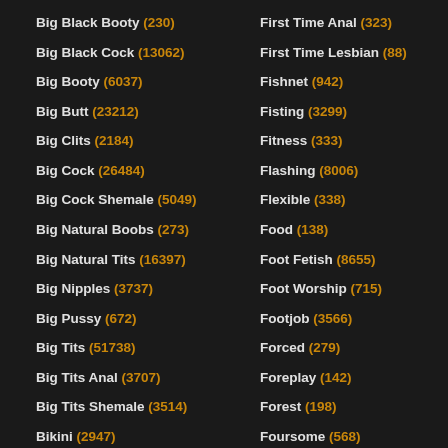Big Black Booty (230)
Big Black Cock (13062)
Big Booty (6037)
Big Butt (23212)
Big Clits (2184)
Big Cock (26484)
Big Cock Shemale (5049)
Big Natural Boobs (273)
Big Natural Tits (16397)
Big Nipples (3737)
Big Pussy (672)
Big Tits (51738)
Big Tits Anal (3707)
Big Tits Shemale (3514)
Bikini (2947)
First Time Anal (323)
First Time Lesbian (88)
Fishnet (942)
Fisting (3299)
Fitness (333)
Flashing (8006)
Flexible (338)
Food (138)
Foot Fetish (8655)
Foot Worship (715)
Footjob (3566)
Forced (279)
Foreplay (142)
Forest (198)
Foursome (568)